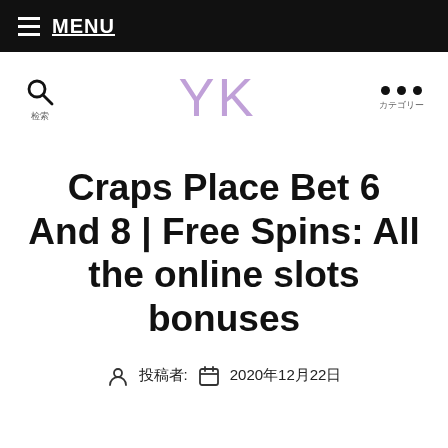≡ MENU
[Figure (logo): YK logo in light purple/lavender script font with search icon on left and dots menu on right]
Craps Place Bet 6 And 8 | Free Spins: All the online slots bonuses
投稿者: 2020年12月22日